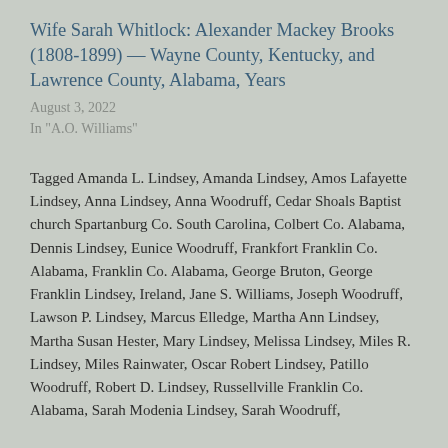Wife Sarah Whitlock: Alexander Mackey Brooks (1808-1899) — Wayne County, Kentucky, and Lawrence County, Alabama, Years
August 3, 2022
In "A.O. Williams"
Tagged Amanda L. Lindsey, Amanda Lindsey, Amos Lafayette Lindsey, Anna Lindsey, Anna Woodruff, Cedar Shoals Baptist church Spartanburg Co. South Carolina, Colbert Co. Alabama, Dennis Lindsey, Eunice Woodruff, Frankfort Franklin Co. Alabama, Franklin Co. Alabama, George Bruton, George Franklin Lindsey, Ireland, Jane S. Williams, Joseph Woodruff, Lawson P. Lindsey, Marcus Elledge, Martha Ann Lindsey, Martha Susan Hester, Mary Lindsey, Melissa Lindsey, Miles R. Lindsey, Miles Rainwater, Oscar Robert Lindsey, Patillo Woodruff, Robert D. Lindsey, Russellville Franklin Co. Alabama, Sarah Modenia Lindsey, Sarah Woodruff,